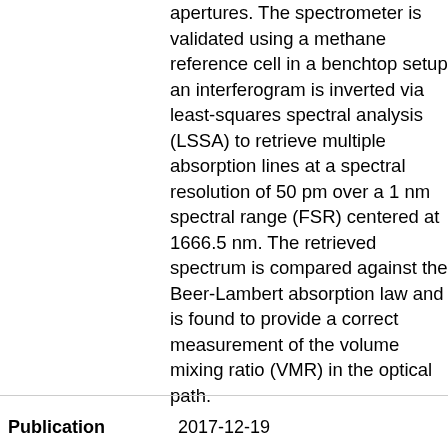apertures. The spectrometer is validated using a methane reference cell in a benchtop setup; an interferogram is inverted via least-squares spectral analysis (LSSA) to retrieve multiple absorption lines at a spectral resolution of 50 pm over a 1 nm spectral range (FSR) centered at 1666.5 nm. The retrieved spectrum is compared against the Beer-Lambert absorption law and is found to provide a correct measurement of the volume mixing ratio (VMR) in the optical path.
Publication 2017-12-19